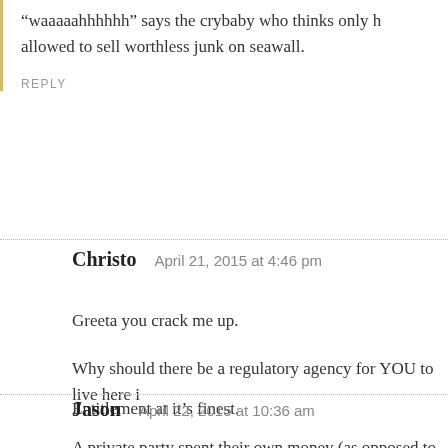“waaaaahhhhhh” says the crybaby who thinks only h allowed to sell worthless junk on seawall.
REPLY
Christo   April 21, 2015 at 4:46 pm
Greeta you crack me up.
Why should there be a regulatory agency for YOU to live here i
Entitlement at it’s finest.
REPLY
Jason   April 22, 2015 at 10:36 am
A private party spent their own money (as opposed to our tax do